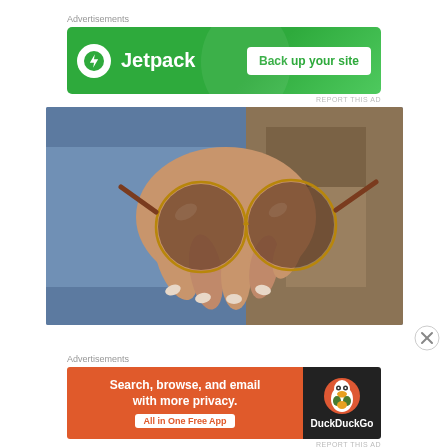Advertisements
[Figure (screenshot): Jetpack advertisement banner with green background. Jetpack logo (white lightning bolt in green circle) on left, 'Jetpack' text in white, and a white button 'Back up your site' in green text on right.]
REPORT THIS AD
[Figure (photo): Close-up photograph of a hand holding round sunglasses with gold wire frames. Person wearing blue denim. Background shows out-of-focus rocky ground.]
Advertisements
[Figure (screenshot): DuckDuckGo advertisement. Left side: orange/red background with white bold text 'Search, browse, and email with more privacy.' and white button 'All in One Free App'. Right side: dark background with DuckDuckGo duck logo and white text 'DuckDuckGo'.]
REPORT THIS AD